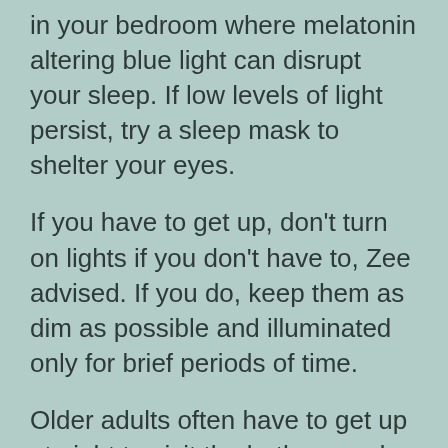in your bedroom where melatonin altering blue light can disrupt your sleep. If low levels of light persist, try a sleep mask to shelter your eyes.
If you have to get up, don't turn on lights if you don't have to, Zee advised. If you do, keep them as dim as possible and illuminated only for brief periods of time.
Older adults often have to get up at night to visit the bathroom, due to health issues or side effects from medications, Zee said, so advising that age group to turn out all lights might put them at risk of falling.